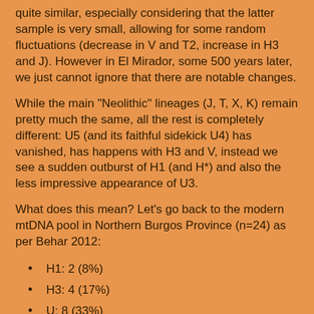quite similar, especially considering that the latter sample is very small, allowing for some random fluctuations (decrease in V and T2, increase in H3 and J). However in El Mirador, some 500 years later, we just cannot ignore that there are notable changes.
While the main "Neolithic" lineages (J, T, X, K) remain pretty much the same, all the rest is completely different: U5 (and its faithful sidekick U4) has vanished, has happens with H3 and V, instead we see a sudden outburst of H1 (and H*) and also the less impressive appearance of U3.
What does this mean? Let's go back to the modern mtDNA pool in Northern Burgos Province (n=24) as per Behar 2012:
H1: 2 (8%)
H3: 4 (17%)
U: 8 (33%)
K: 2 (8%)
T: 2 (8%)
J: 2 (8%)